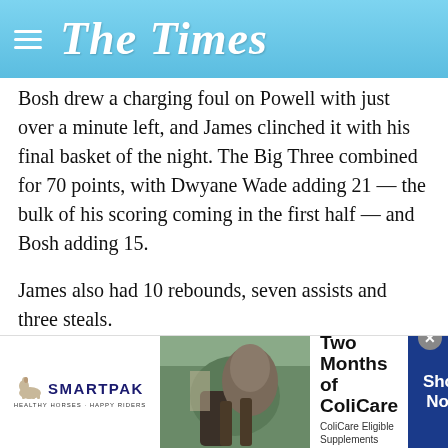The Times
Bosh drew a charging foul on Powell with just over a minute left, and James clinched it with his final basket of the night. The Big Three combined for 70 points, with Dwyane Wade adding 21 — the bulk of his scoring coming in the first half — and Bosh adding 15.
James also had 10 rebounds, seven assists and three steals.
Josh Smith led the Hawks with 17 points, but it wasn't enough to prevent Atlanta from a season-high fifth straight loss — hardly the way the team wants to go into a first-round playoff matchup with Orlando, a team that wiped out the Hawks in four straight games a year ago.
[Figure (infographic): SmartPak advertisement: 50% Off Two Months of ColiCare. ColiCare Eligible Supplements CODE: COLICARE10. Shop Now button. Features SmartPak logo and horse/rider image.]